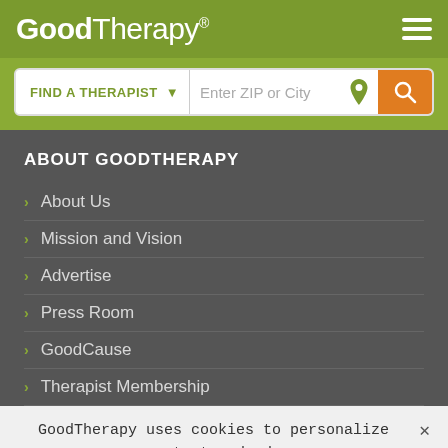GoodTherapy®
[Figure (screenshot): Search bar with 'FIND A THERAPIST' dropdown and 'Enter ZIP or City' input field with location icon and orange search button]
ABOUT GOODTHERAPY
About Us
Mission and Vision
Advertise
Press Room
GoodCause
Therapist Membership
GoodTherapy uses cookies to personalize content and ads to provide better services for our users and to analyze our traffic. By continuing to use this site you consent to our cookies.